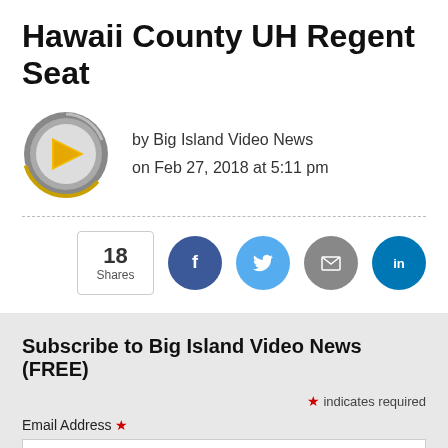Hawaii County UH Regent Seat
by Big Island Video News
on Feb 27, 2018 at 5:11 pm
[Figure (logo): Big Island Video News logo: circular gray badge with yellow play button arrow]
18 Shares
[Figure (infographic): Social share buttons: Facebook, Twitter, Email, LinkedIn]
Subscribe to Big Island Video News (FREE)
* indicates required
Email Address *